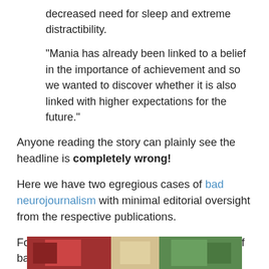decreased need for sleep and extreme distractibility.
"Mania has already been linked to a belief in the importance of achievement and so we wanted to discover whether it is also linked with higher expectations for the future."
Anyone reading the story can plainly see the headline is completely wrong!
Here we have two egregious cases of bad neurojournalism with minimal editorial oversight from the respective publications.
For another (completely unrelated) example of bad science journalism, read the plight of Dr Petra Boynton as she valiantly tried to inform the press about the errors in a New York Times article on sex research: What do women want? Not this!
[Figure (photo): Partial image strip visible at the bottom of the page, appears to show people or figures in red and green tones.]